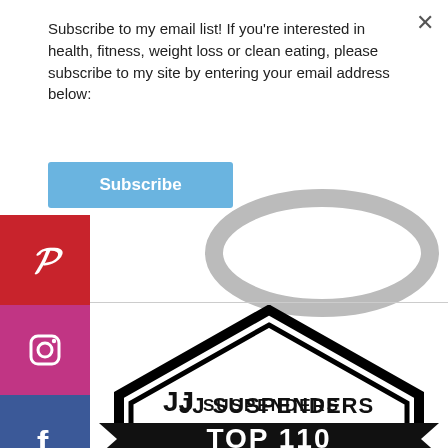Subscribe to my email list! If you're interested in health, fitness, weight loss or clean eating, please subscribe to my site by entering your email address below:
[Figure (screenshot): Subscribe button (light blue rectangular button with 'Subscribe' text in white bold)]
[Figure (infographic): Social media icon bar on left: Pinterest (red), Instagram (pink/purple), Facebook (blue), Twitter (light blue), Tumblr (dark blue)]
[Figure (logo): JJ Suspenders badge/seal with 'TOP 110' banner at bottom, partially visible gray ring at top, black pentagon-shaped badge outline]